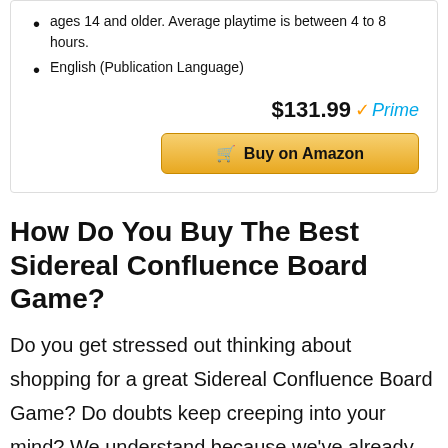ages 14 and older. Average playtime is between 4 to 8 hours.
English (Publication Language)
$131.99 Prime
Buy on Amazon
How Do You Buy The Best Sidereal Confluence Board Game?
Do you get stressed out thinking about shopping for a great Sidereal Confluence Board Game? Do doubts keep creeping into your mind? We understand because we've already gone through the whole process of researching